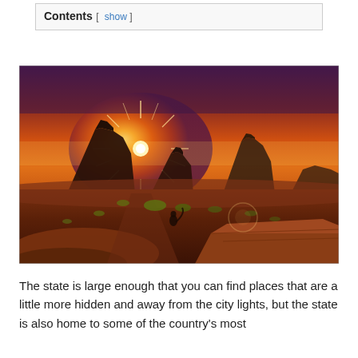Contents [ show ]
[Figure (photo): Dramatic sunset over Monument Valley with sandstone buttes silhouetted against an orange and purple sky, with a sunburst effect near the horizon and desert vegetation in the foreground including a small squirrel on a rock formation.]
The state is large enough that you can find places that are a little more hidden and away from the city lights, but the state is also home to some of the country's most